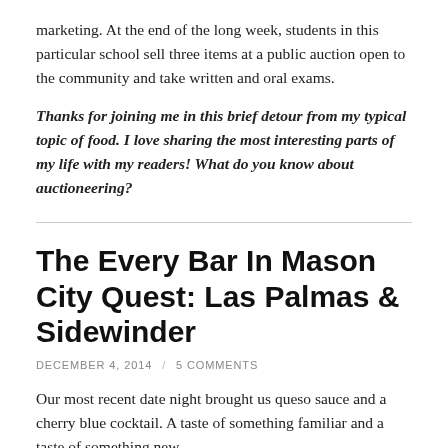marketing. At the end of the long week, students in this particular school sell three items at a public auction open to the community and take written and oral exams.
Thanks for joining me in this brief detour from my typical topic of food. I love sharing the most interesting parts of my life with my readers! What do you know about auctioneering?
The Every Bar In Mason City Quest: Las Palmas & Sidewinder
DECEMBER 4, 2014  /  5 COMMENTS
Our most recent date night brought us queso sauce and a cherry blue cocktail. A taste of something familiar and a taste of something new.